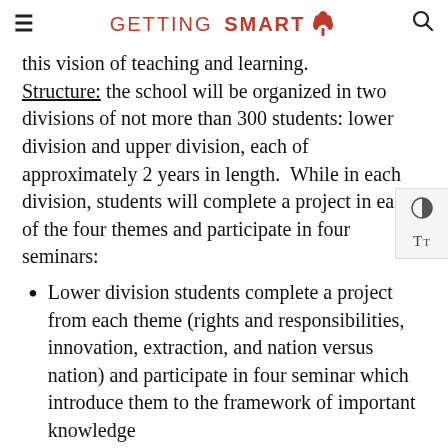≡  GETTING SMART 🌳  🔍
this vision of teaching and learning. Structure: the school will be organized in two divisions of not more than 300 students: lower division and upper division, each of approximately 2 years in length.  While in each division, students will complete a project in each of the four themes and participate in four seminars:
Lower division students complete a project from each theme (rights and responsibilities, innovation, extraction, and nation versus nation) and participate in four seminar which introduce them to the framework of important knowledge